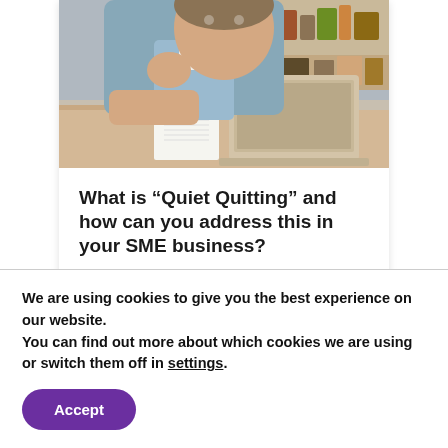[Figure (photo): Man in light blue shirt sitting at a desk, resting his chin on his hand, with a laptop open in front of him and a notebook nearby. Background shows shelves.]
What is “Quiet Quitting” and how can you address this in your SME business?
August 9, 2022
We are using cookies to give you the best experience on our website.
You can find out more about which cookies we are using or switch them off in settings.
Accept